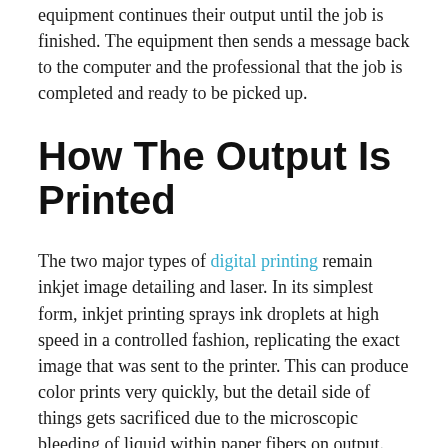equipment continues their output until the job is finished. The equipment then sends a message back to the computer and the professional that the job is completed and ready to be picked up.
How The Output Is Printed
The two major types of digital printing remain inkjet image detailing and laser. In its simplest form, inkjet printing sprays ink droplets at high speed in a controlled fashion, replicating the exact image that was sent to the printer. This can produce color prints very quickly, but the detail side of things gets sacrificed due to the microscopic bleeding of liquid within paper fibers on output. Even the best inkjet printers do not compare with the level of detail possible through laser prints, but inkjet makes up for this disadvantage with lower costs and greater bulk output.
Laser printing involves an actual laser system that applies the image onto a paper form and the toner is then